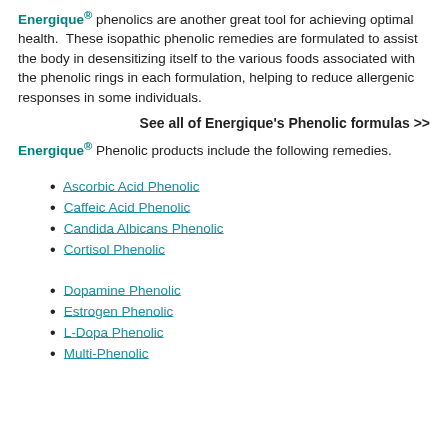Energique® phenolics are another great tool for achieving optimal health. These isopathic phenolic remedies are formulated to assist the body in desensitizing itself to the various foods associated with the phenolic rings in each formulation, helping to reduce allergenic responses in some individuals.
See all of Energique's Phenolic formulas >>
Energique® Phenolic products include the following remedies.
Ascorbic Acid Phenolic
Caffeic Acid Phenolic
Candida Albicans Phenolic
Cortisol Phenolic
Dopamine Phenolic
Estrogen Phenolic
L-Dopa Phenolic
Multi-Phenolic